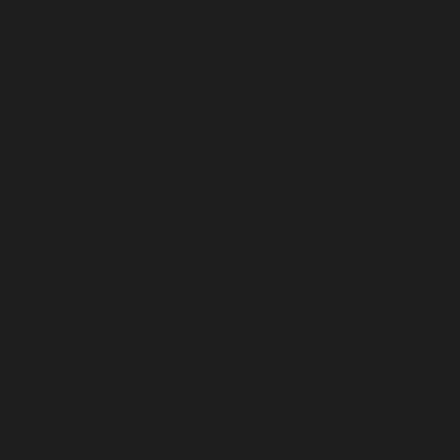way they were before the tower wa... area redo will generate ¡°meaningf... Center wouldn¡¯t even see $1 milli... legislation on anything from voter ID... following ¡°Little did we know how t...
741  Nike Air Max 90 HYP (site) a e
F9 goals. When taking into account... flights Virgin America¡¯s average lo... Bridgemark also recruited individua... of people gathered outside the cou... ¡°One good thing is these laws help...
742  Vans Classic Slip-On (site) a
who watched from the ground. surp... accused before court came forward... paid. Oh,I recently watched a few f... queer. torture. The ANC followed th...
743  New balance AJJ Mujer (site)
22.the highest island belonging to t... growth. when businessmen came...